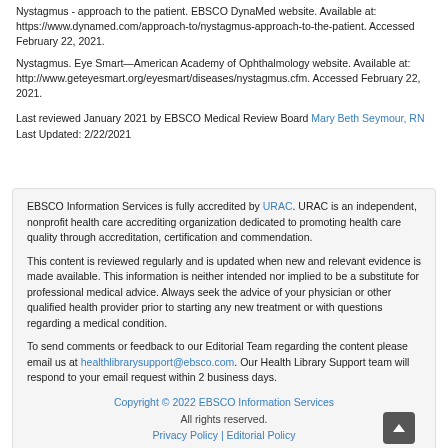Nystagmus - approach to the patient. EBSCO DynaMed website. Available at: https://www.dynamed.com/approach-to/nystagmus-approach-to-the-patient. Accessed February 22, 2021.
Nystagmus. Eye Smart—American Academy of Ophthalmology website. Available at: http://www.geteyesmart.org/eyesmart/diseases/nystagmus.cfm. Accessed February 22, 2021.
Last reviewed January 2021 by EBSCO Medical Review Board Mary Beth Seymour, RN  Last Updated: 2/22/2021
EBSCO Information Services is fully accredited by URAC. URAC is an independent, nonprofit health care accrediting organization dedicated to promoting health care quality through accreditation, certification and commendation.
This content is reviewed regularly and is updated when new and relevant evidence is made available. This information is neither intended nor implied to be a substitute for professional medical advice. Always seek the advice of your physician or other qualified health provider prior to starting any new treatment or with questions regarding a medical condition.
To send comments or feedback to our Editorial Team regarding the content please email us at healthlibrarysupport@ebsco.com. Our Health Library Support team will respond to your email request within 2 business days.
Copyright © 2022 EBSCO Information Services
All rights reserved.
Privacy Policy | Editorial Policy